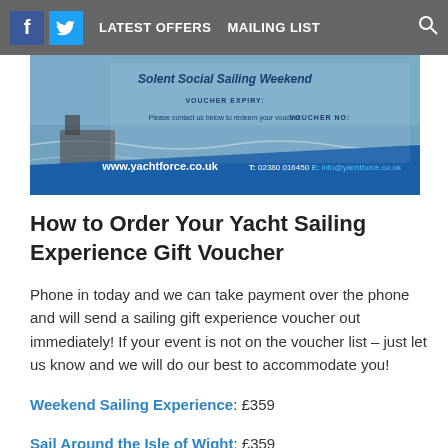LATEST OFFERS  MAILING LIST
[Figure (photo): Yachtforce sailing voucher image showing 'Solent Social Sailing Weekend', voucher expiry, voucher number, contact details: www.yachtforce.co.uk, T: 02380 016450, E: info@yachtforce.co.uk]
How to Order Your Yacht Sailing Experience Gift Voucher
Phone in today and we can take payment over the phone and will send a sailing gift experience voucher out immediately! If your event is not on the voucher list – just let us know and we will do our best to accommodate you!
Weekend Sailing Experience: £359
Sail Around the Isle of Wight: £359
Round the Island Race (3 day event): £659
Voucher Values: £100 / £150 / £200 / £250